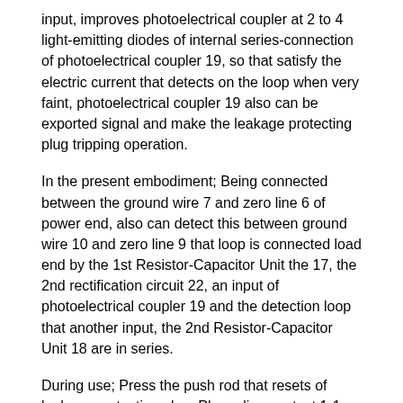input, improves photoelectrical coupler at 2 to 4 light-emitting diodes of internal series-connection of photoelectrical coupler 19, so that satisfy the electric current that detects on the loop when very faint, photoelectrical coupler 19 also can be exported signal and make the leakage protecting plug tripping operation.
In the present embodiment; Being connected between the ground wire 7 and zero line 6 of power end, also can detect this between ground wire 10 and zero line 9 that loop is connected load end by the 1st Resistor-Capacitor Unit the 17, the 2nd rectification circuit 22, an input of photoelectrical coupler 19 and the detection loop that another input, the 2nd Resistor-Capacitor Unit 18 are in series.
During use; Press the push rod that resets of leakage protecting plug; Phase line contact 1-1 and 2-1, zero line contact 1-2 and 2-2 and ground wire contact 3 and 4 are all normally connected; The phase line 8 of load end, zero line 9, ground wire 10 are connected with phase line 5, zero line 6, the ground wire 7 of power end respectively; Ground wire 7 and 10 is because the effect of ground connection is